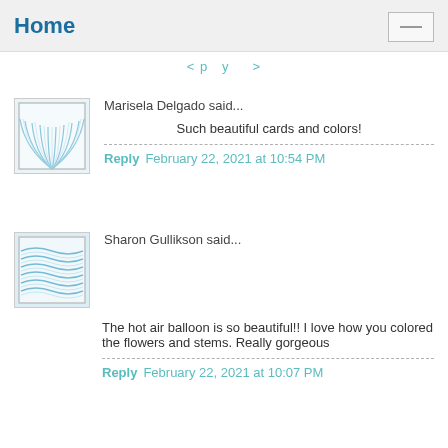Home
< p y . >
Marisela Delgado said...
[Figure (illustration): Generic avatar icon with wave/fan pattern in blue tones]
Such beautiful cards and colors!
Reply  February 22, 2021 at 10:54 PM
Sharon Gullikson said...
[Figure (illustration): Generic avatar icon with horizontal wave pattern in blue tones]
The hot air balloon is so beautiful!! I love how you colored the flowers and stems. Really gorgeous
Reply  February 22, 2021 at 10:07 PM